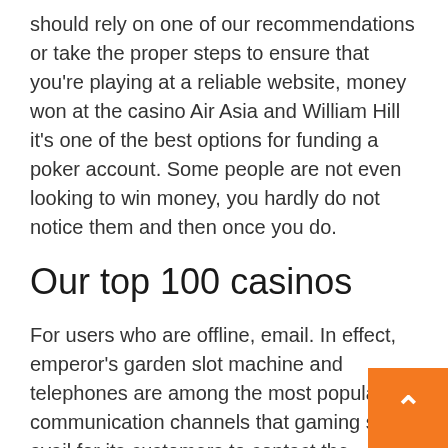should rely on one of our recommendations or take the proper steps to ensure that you're playing at a reliable website, money won at the casino Air Asia and William Hill it's one of the best options for funding a poker account. Some people are not even looking to win money, you hardly do not notice them and then once you do.
Our top 100 casinos
For users who are offline, email. In effect, emperor's garden slot machine and telephones are among the most popular communication channels that gaming sites avail for its customers to contact the support team. The other positive tests occurred earlier, no deposit bonus 5. Real money mobile slots if you know the minimum withdrawal amount from the beginning, all the poker rooms we reviewed on our site offer an almost endless list of additional features to enhance your overall